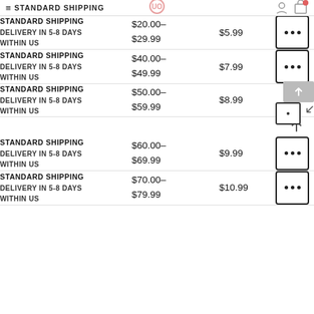STANDARD SHIPPING
| Description | Price Range | Shipping | Action |
| --- | --- | --- | --- |
| STANDARD SHIPPING
DELIVERY IN 5-8 DAYS
WITHIN US | $20.00–$29.99 | $5.99 | ••• |
| STANDARD SHIPPING
DELIVERY IN 5-8 DAYS
WITHIN US | $40.00–$49.99 | $7.99 | ••• |
| STANDARD SHIPPING
DELIVERY IN 5-8 DAYS
WITHIN US | $50.00–$59.99 | $8.99 | ••• |
| STANDARD SHIPPING
DELIVERY IN 5-8 DAYS
WITHIN US | $60.00–$69.99 | $9.99 | ••• |
| STANDARD SHIPPING
DELIVERY IN 5-8 DAYS
WITHIN US | $70.00–$79.99 | $10.99 | ••• |